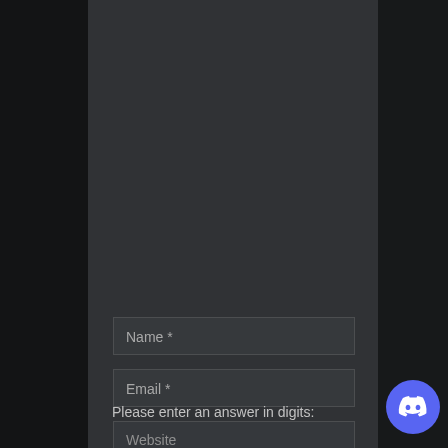[Figure (screenshot): Dark themed webpage background with a semi-transparent center panel overlay showing a web form with Name, Email, and Website input fields, and a CAPTCHA prompt]
Name *
Email *
Website
Please enter an answer in digits: